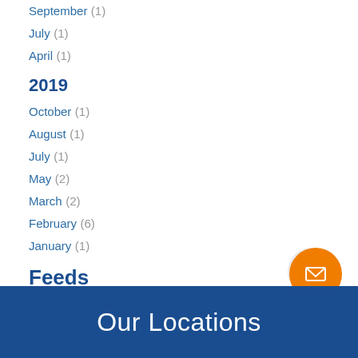September (1)
July (1)
April (1)
2019
October (1)
August (1)
July (1)
May (2)
March (2)
February (6)
January (1)
Feeds
RSS / Atom
Our Locations